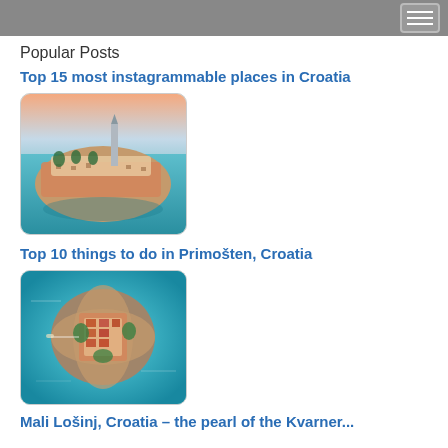Popular Posts
Top 15 most instagrammable places in Croatia
[Figure (photo): Aerial photo of a coastal Croatian town (Rovinj) surrounded by turquoise sea, with a church tower and terracotta rooftops, at sunset.]
Top 10 things to do in Primošten, Croatia
[Figure (photo): Aerial photo of a small Croatian island (Primošten) with dense orange-roofed buildings surrounded by turquoise blue water.]
Mali Lošinj, Croatia – the pearl of the Kvarner...